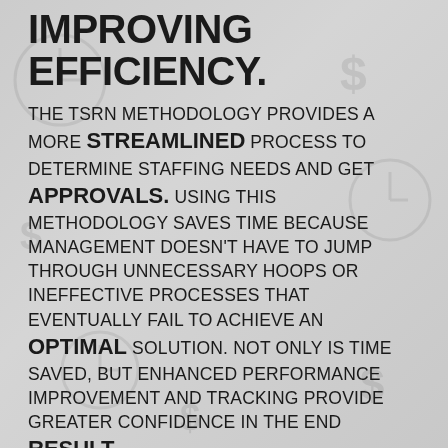IMPROVING EFFICIENCY.
THE TSRN METHODOLOGY PROVIDES A MORE STREAMLINED PROCESS TO DETERMINE STAFFING NEEDS AND GET APPROVALS. USING THIS METHODOLOGY SAVES TIME BECAUSE MANAGEMENT DOESN'T HAVE TO JUMP THROUGH UNNECESSARY HOOPS OR INEFFECTIVE PROCESSES THAT EVENTUALLY FAIL TO ACHIEVE AN OPTIMAL SOLUTION. NOT ONLY IS TIME SAVED, BUT ENHANCED PERFORMANCE IMPROVEMENT AND TRACKING PROVIDE GREATER CONFIDENCE IN THE END RESULT.